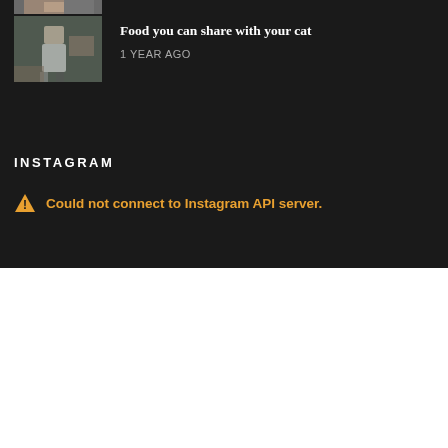[Figure (photo): Partial thumbnail image of a person in a kitchen at the very top of page]
[Figure (photo): Thumbnail image of a person in kitchen for article about food you can share with your cat]
Food you can share with your cat
1 YEAR AGO
INSTAGRAM
Could not connect to Instagram API server.
We use cookies on our website to give you the most relevant experience by remembering your preferences and repeat visits. By clicking "Accept All", you consent to the use of ALL the cookies. However, you may visit 'Cookie Settings' to provide a controlled consent.